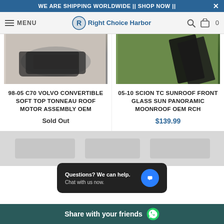WE ARE SHIPPING WORLDWIDE || SHOP NOW ||
MENU | Right Choice Harbor | Search | Cart 0
[Figure (photo): Product photo of 98-05 C70 Volvo Convertible Soft Top Tonneau Roof Motor Assembly OEM - dark car part on light background]
98-05 C70 VOLVO CONVERTIBLE SOFT TOP TONNEAU ROOF MOTOR ASSEMBLY OEM
Sold Out
[Figure (photo): Product photo of 05-10 Scion TC Sunroof Front Glass Sun Panoramic Moonroof OEM RCH - dark panel on green background]
05-10 SCION TC SUNROOF FRONT GLASS SUN PANORAMIC MOONROOF OEM RCH
$139.99
[Figure (screenshot): Chat popup widget with text: Questions? We can help. Chat with us now.]
Share with your friends